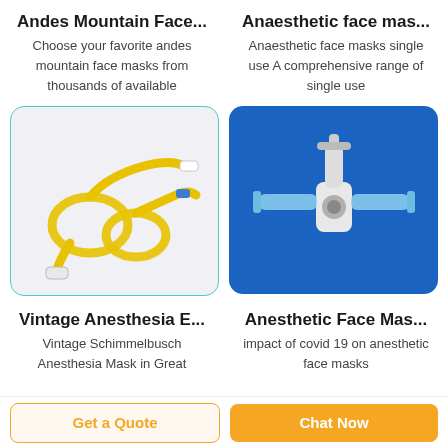Andes Mountain Face...
Choose your favorite andes mountain face masks from thousands of available
Anaesthetic face mas...
Anaesthetic face masks single use A comprehensive range of single use
[Figure (photo): Yellow IV/infusion tubing coiled on a light gray background inside a teal-bordered rounded rectangle]
[Figure (photo): White plastic medical stopcock/valve connector on blue background inside rounded rectangle]
Vintage Anesthesia E...
Vintage Schimmelbusch Anesthesia Mask in Great
Anesthetic Face Mas...
impact of covid 19 on anesthetic face masks
Get a Quote
Chat Now